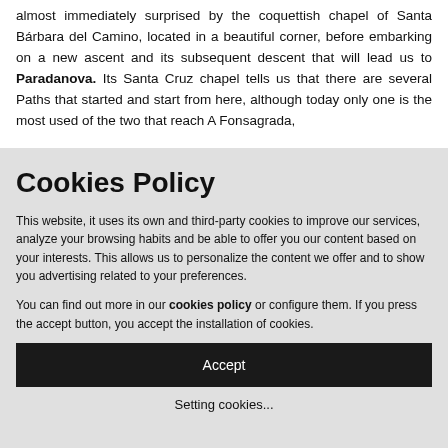almost immediately surprised by the coquettish chapel of Santa Bárbara del Camino, located in a beautiful corner, before embarking on a new ascent and its subsequent descent that will lead us to Paradanova. Its Santa Cruz chapel tells us that there are several Paths that started and start from here, although today only one is the most used of the two that reach A Fonsagrada,
Cookies Policy
This website, it uses its own and third-party cookies to improve our services, analyze your browsing habits and be able to offer you our content based on your interests. This allows us to personalize the content we offer and to show you advertising related to your preferences.
You can find out more in our cookies policy or configure them. If you press the accept button, you accept the installation of cookies.
Accept
Setting cookies...